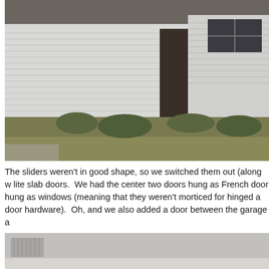[Figure (photo): Exterior photo of a house showing vinyl siding, an open doorway, a window, and a dry grass yard with weeds along the foundation.]
The sliders weren't in good shape, so we switched them out (along w lite slab doors.  We had the center two doors hung as French door hung as windows (meaning that they weren't morticed for hinged a door hardware).  Oh, and we also added a door between the garage a
[Figure (photo): Interior photo showing a ceiling with a vent and light-colored walls.]